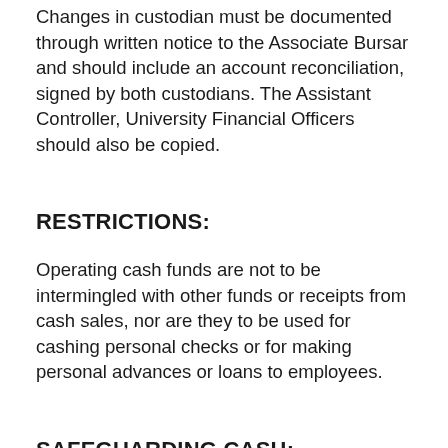Changes in custodian must be documented through written notice to the Associate Bursar and should include an account reconciliation, signed by both custodians. The Assistant Controller, University Financial Officers should also be copied.
RESTRICTIONS:
Operating cash funds are not to be intermingled with other funds or receipts from cash sales, nor are they to be used for cashing personal checks or for making personal advances or loans to employees.
SAFEGUARDING CASH:
It is the custodian's responsibility to make whatever provisions are necessary to safeguard the fund.
Any amount of cash on hand that exceeds $1,000 must be maintained in an approved safe (fireproof, bolted to